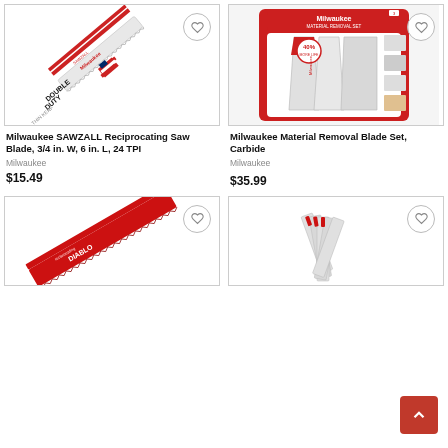[Figure (photo): Milwaukee SAWZALL Reciprocating Saw Blade product photo, diagonal blade with branding]
[Figure (photo): Milwaukee Material Removal Blade Set Carbide product photo, red retail packaging with 3 blades, 40% label]
Milwaukee SAWZALL Reciprocating Saw Blade, 3/4 in. W, 6 in. L, 24 TPI
Milwaukee
$15.49
Milwaukee Material Removal Blade Set, Carbide
Milwaukee
$35.99
[Figure (photo): Diablo reciprocating saw blade product photo, red blade with branding]
[Figure (photo): Reciprocating saw blade set product photo, multiple blades fanned out]